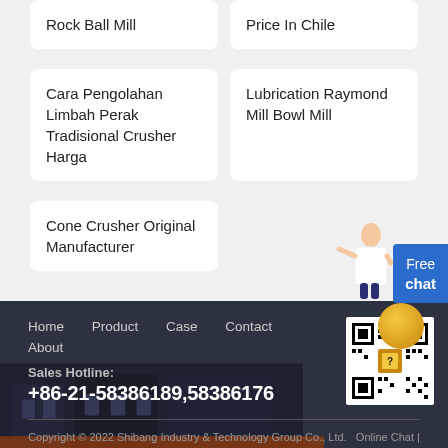Rock Ball Mill
Price In Chile
Cara Pengolahan Limbah Perak Tradisional Crusher Harga
Lubrication Raymond Mill Bowl Mill
Cone Crusher Original Manufacturer
[Figure (other): Free chat button with person illustration]
Home  Product  Case  Contact  About
Sales Hotline:
+86-21-58386189,58386176
Copyright © 2022 Shibang Industry & Technology Group Co., Ltd.  Online Chat | Contact Us | sitemap